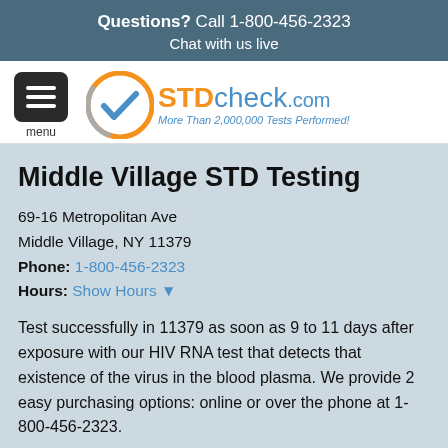Questions? Call 1-800-456-2323
Chat with us live
[Figure (logo): STDcheck.com logo with menu icon and circular checkmark]
Middle Village STD Testing
69-16 Metropolitan Ave
Middle Village, NY 11379
Phone: 1-800-456-2323
Hours: Show Hours ▼
Test successfully in 11379 as soon as 9 to 11 days after exposure with our HIV RNA test that detects that existence of the virus in the blood plasma. We provide 2 easy purchasing options: online or over the phone at 1-800-456-2323.